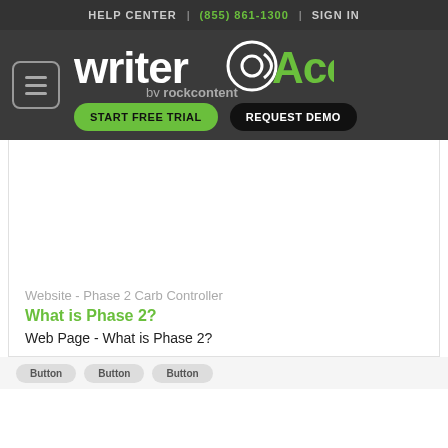HELP CENTER | (855) 861-1300 | SIGN IN
[Figure (logo): WriterAccess by rockcontent logo with green and white text]
START FREE TRIAL
REQUEST DEMO
Website - Phase 2 Carb Controller
What is Phase 2?
Web Page - What is Phase 2?